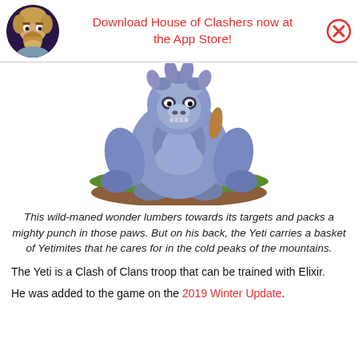Download House of Clashers now at the App Store!
[Figure (illustration): 3D rendered Yeti troop character from Clash of Clans: a large blue furry monster with purple small creature (Yetimite) at its feet, standing on a grass-covered dirt platform.]
This wild-maned wonder lumbers towards its targets and packs a mighty punch in those paws. But on his back, the Yeti carries a basket of Yetimites that he cares for in the cold peaks of the mountains.
The Yeti is a Clash of Clans troop that can be trained with Elixir.
He was added to the game on the 2019 Winter Update.